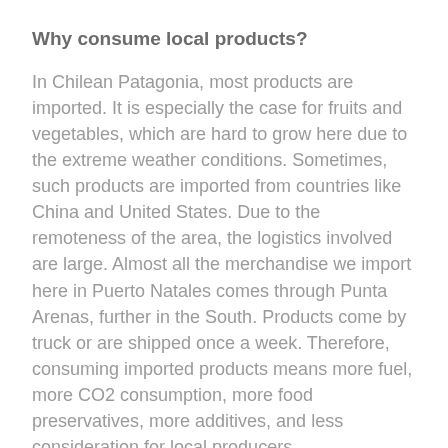Why consume local products?
In Chilean Patagonia, most products are imported. It is especially the case for fruits and vegetables, which are hard to grow here due to the extreme weather conditions. Sometimes, such products are imported from countries like China and United States. Due to the remoteness of the area, the logistics involved are large. Almost all the merchandise we import here in Puerto Natales comes through Punta Arenas, further in the South. Products come by truck or are shipped once a week. Therefore, consuming imported products means more fuel, more CO2 consumption, more food preservatives, more additives, and less consideration for local producers.
Consuming local products helps the local